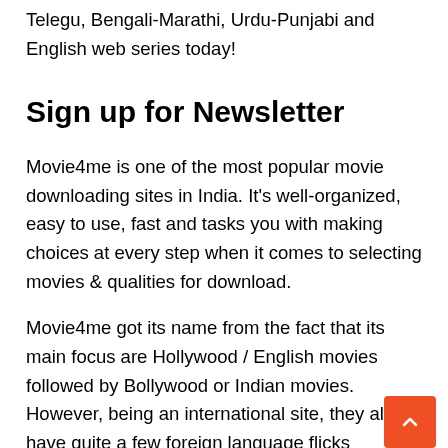Telegu, Bengali-Marathi, Urdu-Punjabi and English web series today!
Sign up for Newsletter
Movie4me is one of the most popular movie downloading sites in India. It's well-organized, easy to use, fast and tasks you with making choices at every step when it comes to selecting movies & qualities for download.
Movie4me got its name from the fact that its main focus are Hollywood / English movies followed by Bollywood or Indian movies. However, being an international site, they also have quite a few foreign language flicks available